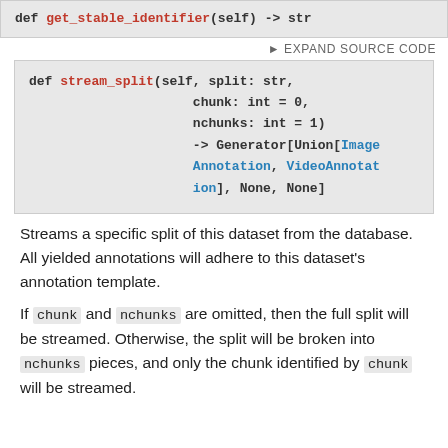def get_stable_identifier(self) -> str
▶ EXPAND SOURCE CODE
def stream_split(self, split: str,
                     chunk: int = 0,
                     nchunks: int = 1)
                     -> Generator[Union[ImageAnnotation, VideoAnnotation], None, None]
Streams a specific split of this dataset from the database. All yielded annotations will adhere to this dataset's annotation template.
If chunk and nchunks are omitted, then the full split will be streamed. Otherwise, the split will be broken into nchunks pieces, and only the chunk identified by chunk will be streamed.